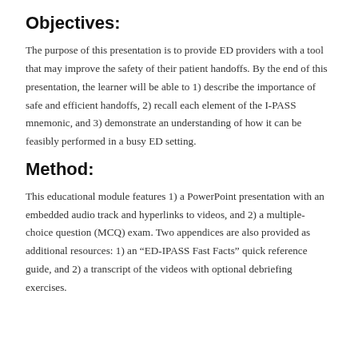Objectives:
The purpose of this presentation is to provide ED providers with a tool that may improve the safety of their patient handoffs. By the end of this presentation, the learner will be able to 1) describe the importance of safe and efficient handoffs, 2) recall each element of the I-PASS mnemonic, and 3) demonstrate an understanding of how it can be feasibly performed in a busy ED setting.
Method:
This educational module features 1) a PowerPoint presentation with an embedded audio track and hyperlinks to videos, and 2) a multiple-choice question (MCQ) exam. Two appendices are also provided as additional resources: 1) an “ED-IPASS Fast Facts” quick reference guide, and 2) a transcript of the videos with optional debriefing exercises.